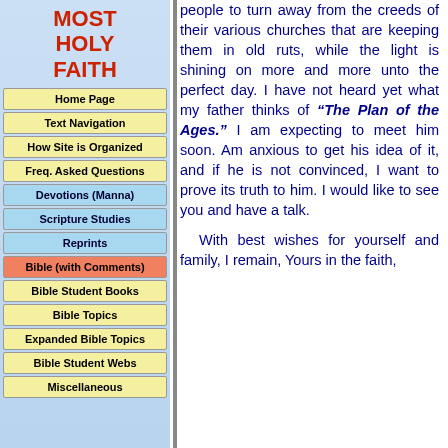MOST HOLY FAITH
Home Page
Text Navigation
How Site is Organized
Freq. Asked Questions
Devotions (Manna)
Scripture Studies
Reprints
Bible (with Comments)
Bible Student Books
Bible Topics
Expanded Bible Topics
Bible Student Webs
Miscellaneous
people to turn away from the creeds of their various churches that are keeping them in old ruts, while the light is shining on more and more unto the perfect day. I have not heard yet what my father thinks of "The Plan of the Ages." I am expecting to meet him soon. Am anxious to get his idea of it, and if he is not convinced, I want to prove its truth to him. I would like to see you and have a talk.

With best wishes for yourself and family, I remain, Yours in the faith,